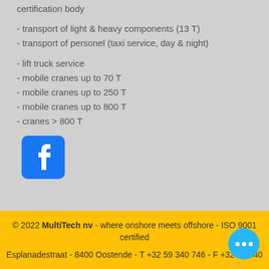certification body
- transport of light & heavy components (13 T)
- transport of personel (taxi service, day & night)
- lift truck service
- mobile cranes up to 70 T
- mobile cranes up to 250 T
- mobile cranes up to 800 T
- cranes > 800 T
[Figure (logo): Facebook logo icon, blue rounded square with white 'f' letter]
© 2022 MultiTech nv - where onshore meets offshore - ISO 9001 certified
Esplanadestraat - 8400 Oostende - T +32 59 340 746 - F +32 59 3... 10